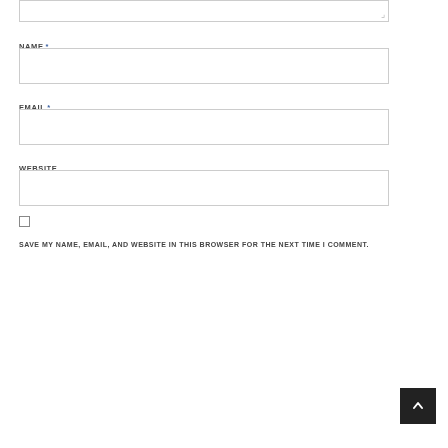[textarea top portion visible with resize handle]
NAME *
[Name input field]
EMAIL *
[Email input field]
WEBSITE
[Website input field]
SAVE MY NAME, EMAIL, AND WEBSITE IN THIS BROWSER FOR THE NEXT TIME I COMMENT.